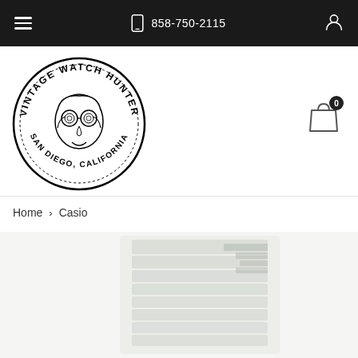☰  📱 858-750-2115  👤
[Figure (logo): Vintage Watch Hunter circular logo with illustrated face wearing goggles, text reading VINTAGE WATCH HUNTER around top and SAN DIEGO, CALIFORNIA around bottom]
[Figure (illustration): Shopping bag icon with 0 badge]
Home › Casio
[Figure (photo): Partially visible Casio watch photo, blurred close-up showing digital watch face and band]